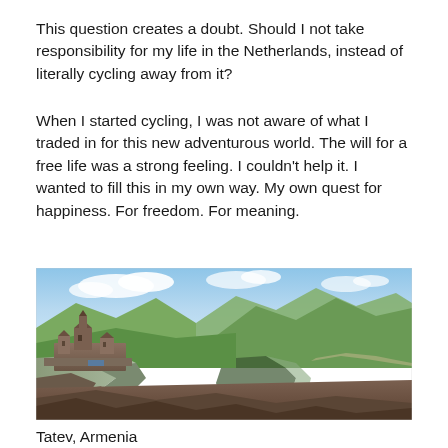This question creates a doubt. Should I not take responsibility for my life in the Netherlands, instead of literally cycling away from it?
When I started cycling, I was not aware of what I traded in for this new adventurous world. The will for a free life was a strong feeling. I couldn’t help it. I wanted to fill this in my own way. My own quest for happiness. For freedom. For meaning.
[Figure (photo): Panoramic landscape photo showing Tatev Monastery perched on a rocky cliff surrounded by lush green mountains and a deep gorge in Armenia, with a blue sky and clouds in the background.]
Tatev, Armenia